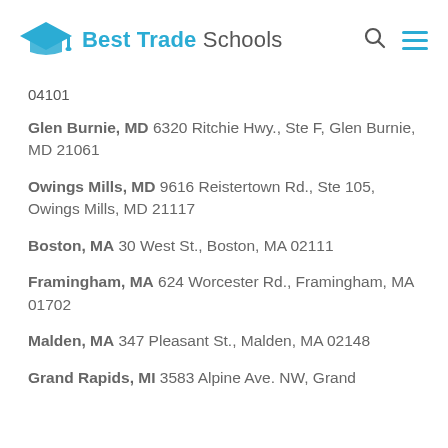Best Trade Schools
04101
Glen Burnie, MD 6320 Ritchie Hwy., Ste F, Glen Burnie, MD 21061
Owings Mills, MD 9616 Reistertown Rd., Ste 105, Owings Mills, MD 21117
Boston, MA 30 West St., Boston, MA 02111
Framingham, MA 624 Worcester Rd., Framingham, MA 01702
Malden, MA 347 Pleasant St., Malden, MA 02148
Grand Rapids, MI 3583 Alpine Ave. NW, Grand